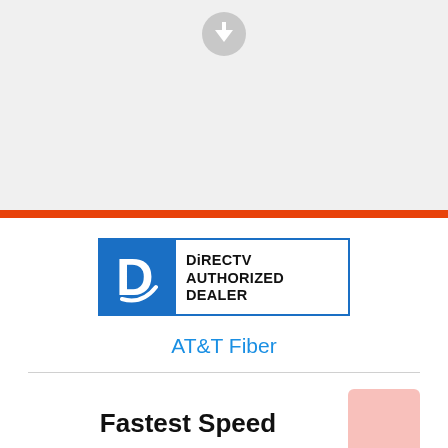[Figure (logo): Gray circular download arrow icon at top of page]
[Figure (logo): DIRECTV Authorized Dealer logo — blue square with white D letter on left, white panel with DIRECTV AUTHORIZED DEALER text on right]
AT&T Fiber
Fastest Speed